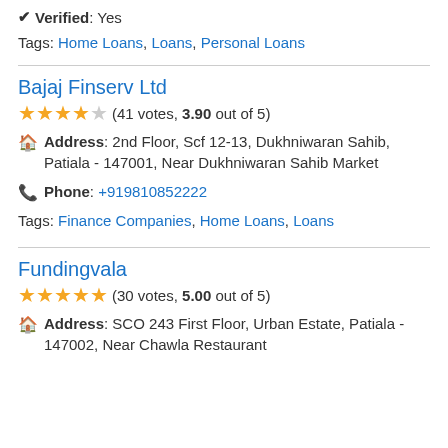✔ Verified: Yes
Tags: Home Loans, Loans, Personal Loans
Bajaj Finserv Ltd
(41 votes, 3.90 out of 5)
Address: 2nd Floor, Scf 12-13, Dukhniwaran Sahib, Patiala - 147001, Near Dukhniwaran Sahib Market
Phone: +919810852222
Tags: Finance Companies, Home Loans, Loans
Fundingvala
(30 votes, 5.00 out of 5)
Address: SCO 243 First Floor, Urban Estate, Patiala - 147002, Near Chawla Restaurant